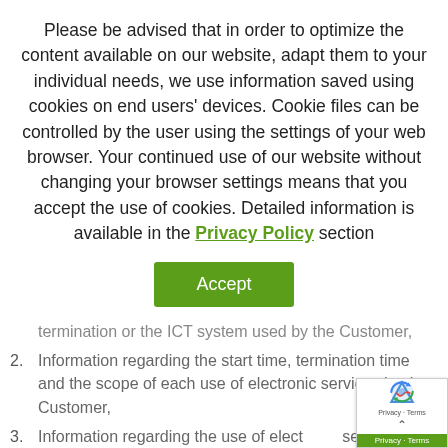Please be advised that in order to optimize the content available on our website, adapt them to your individual needs, we use information saved using cookies on end users' devices. Cookie files can be controlled by the user using the settings of your web browser. Your continued use of our website without changing your browser settings means that you accept the use of cookies. Detailed information is available in the Privacy Policy section
termination or the ICT system used by the Customer,
Information regarding the start time, termination time and the scope of each use of electronic services by the Customer,
Information regarding the use of electronic services by the Customer.
For the Provider's services to be performed...